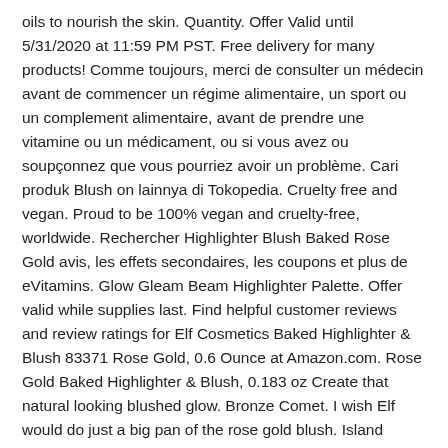oils to nourish the skin. Quantity. Offer Valid until 5/31/2020 at 11:59 PM PST. Free delivery for many products! Comme toujours, merci de consulter un médecin avant de commencer un régime alimentaire, un sport ou un complement alimentaire, avant de prendre une vitamine ou un médicament, ou si vous avez ou soupçonnez que vous pourriez avoir un problème. Cari produk Blush on lainnya di Tokopedia. Cruelty free and vegan. Proud to be 100% vegan and cruelty-free, worldwide. Rechercher Highlighter Blush Baked Rose Gold avis, les effets secondaires, les coupons et plus de eVitamins. Glow Gleam Beam Highlighter Palette. Offer valid while supplies last. Find helpful customer reviews and review ratings for Elf Cosmetics Baked Highlighter & Blush 83371 Rose Gold, 0.6 Ounce at Amazon.com. Rose Gold Baked Highlighter & Blush, 0.183 oz Create that natural looking blushed glow. Bronze Comet. I wish Elf would do just a big pan of the rose gold blush. Island Glow. e.l.f. Highlighter and bronzer compact: Create a sun kissed glow Color: Rose